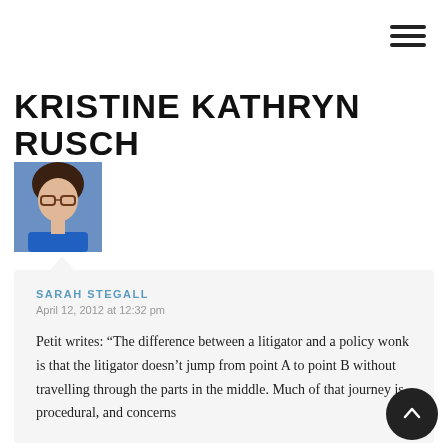[Figure (other): Hamburger menu icon — three horizontal lines, top-right corner]
KRISTINE KATHRYN RUSCH
[Figure (photo): Headshot photo of a woman with glasses wearing a blue shirt]
SARAH STEGALL
April 12, 2012 at 12:32 pm
Petit writes: “The difference between a litigator and a policy wonk is that the litigator doesn’t jump from point A to point B without travelling through the parts in the middle. Much of that journey is procedural, and concerns